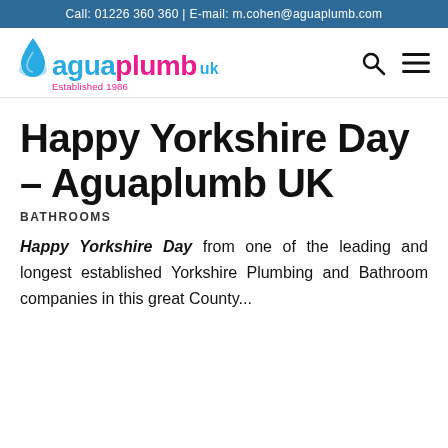Call: 01226 360 360 | E-mail: m.cohen@aguaplumb.com
[Figure (logo): Aguaplumb UK logo with blue and pink text, water drop icon, and 'Established 1986' tagline]
Happy Yorkshire Day – Aguaplumb UK
BATHROOMS
Happy Yorkshire Day from one of the leading and longest established Yorkshire Plumbing and Bathroom companies in this great County...